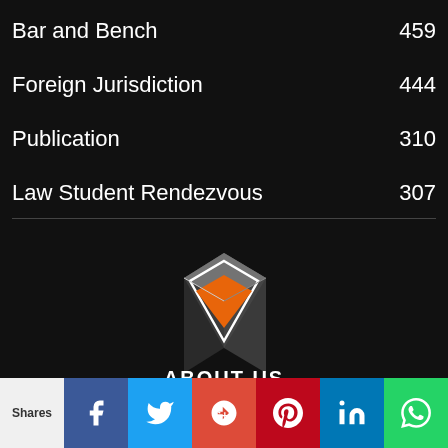Bar and Bench 459
Foreign Jurisdiction 444
Publication 310
Law Student Rendezvous 307
[Figure (logo): Bar and Bench 3D diamond/hexagon logo in dark gray, white and orange colors]
ABOUT US
Shares | Facebook | Twitter | Google+ | Pinterest | LinkedIn | WhatsApp | Crown